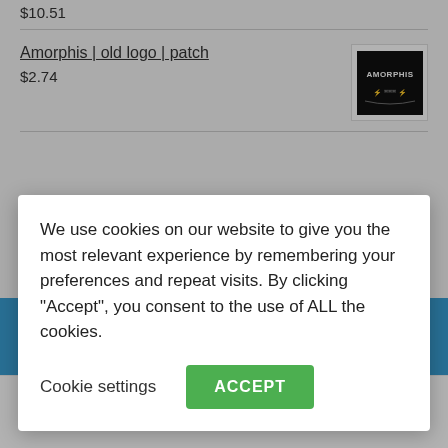$10.51
Amorphis | old logo | patch
$2.74
[Figure (logo): Amorphis band logo patch thumbnail - white background with black Amorphis text logo]
We use cookies on our website to give you the most relevant experience by remembering your preferences and repeat visits. By clicking “Accept”, you consent to the use of ALL the cookies.
Cookie settings
ACCEPT
please mention this in the order notes. Maybe, just maybe, we can bump your order up
Dismiss
[Figure (infographic): Bottom navigation bar with person/account icon, search magnifier icon, and shopping cart icon with badge showing 0]